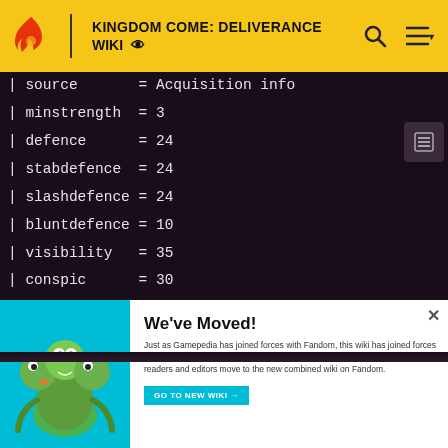KINGDOM COME: DELIVERANCE WIKI
| source       = Acquisition info
| minstrength  = 3
| defence      = 24
| stabdefence  = 24
| slashdefence = 24
| bluntdefence = 10
| visibility   = 35
| conspic      = 30
| noise        = 25
| charisma     = 10
| durability   = 65
[Figure (illustration): We've Moved popup overlay with cartoon creature illustration on teal background, move notification text, and GO TO NEW WIKI button]
We've Moved!
Just as Gamepedia has joined forces with Fandom, this wiki has joined forces with our Fandom equivalent. The wiki has been archived and we ask that readers and editors move to the new combined wiki on Fandom.